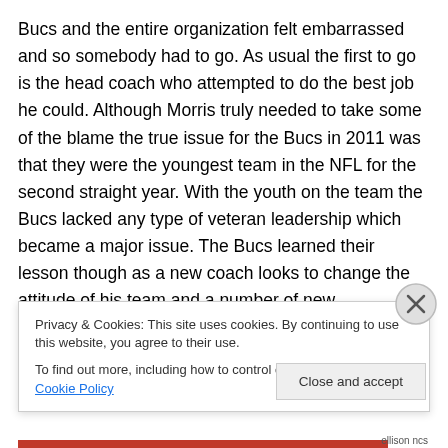Bucs and the entire organization felt embarrassed and so somebody had to go. As usual the first to go is the head coach who attempted to do the best job he could. Although Morris truly needed to take some of the blame the true issue for the Bucs in 2011 was that they were the youngest team in the NFL for the second straight year. With the youth on the team the Bucs lacked any type of veteran leadership which became a major issue. The Bucs learned their lesson though as a new coach looks to change the attitude of his team and a number of new signings looks to provide that veteran leadership
Privacy & Cookies: This site uses cookies. By continuing to use this website, you agree to their use.
To find out more, including how to control cookies, see here: Cookie Policy
Close and accept